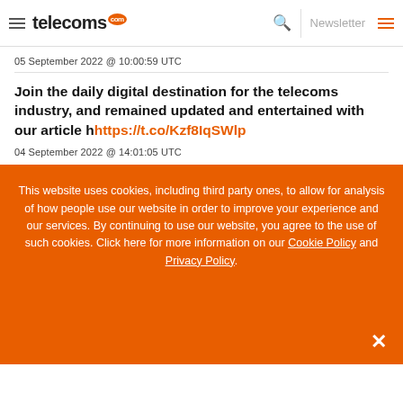telecoms.com
05 September 2022 @ 10:00:59 UTC
Join the daily digital destination for the telecoms industry, and remained updated and entertained with our article h https://t.co/Kzf8IqSWlp
04 September 2022 @ 14:01:05 UTC
This website uses cookies, including third party ones, to allow for analysis of how people use our website in order to improve your experience and our services. By continuing to use our website, you agree to the use of such cookies. Click here for more information on our Cookie Policy and Privacy Policy.